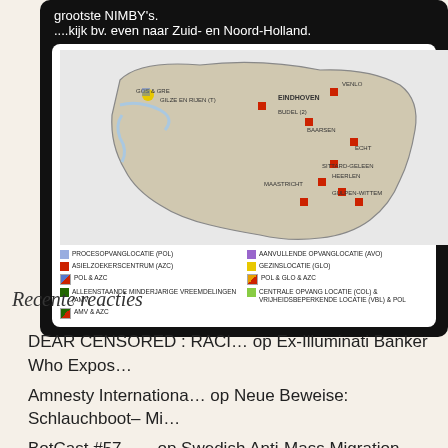grootste NIMBY's.
....kijk bv. even naar Zuid- en Noord-Holland.
[Figure (map): Map of Dutch province (Limburg/Noord-Brabant region) showing asylum seeker locations marked with colored symbols. Legend shows: PROCESOPVANGLOCATIE (POL), ASIELZOEKERSCENTRUM (AZC), POL & AZC, ALLEENSTAANDE MINDERJARIGE VREEMDELINGEN (AMV), AMV & AZC, AANVULLENDE OPVANGLOCATIE (AVO), GEZINSLOCATIE (GLO), POL & GLO & AZC, CENTRALE OPVANG LOCATIE (COL) & VRIJHEIDSBEPERKENDE LOCATIE (VBL) & POL]
Recente reacties
DEAR CENSORED : RACI… op Ex-Illuminati Banker Who Expos…
Amnesty Internationa… op Neue Beweise: Schlauchboot- Mi…
BotCast #57 –… op Swedish Anti-Mass Migration Po…